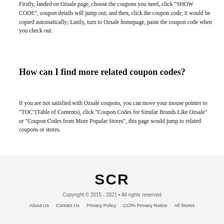Firstly, landed on Ozsale page, choose the coupons you need, click "SHOW CODE", coupon details will jump out; and then, click the coupon code, it would be copied automatically; Lastly, turn to Ozsale homepage, paste the coupon code when you check out.
How can I find more related coupon codes?
If you are not satisfied with Ozsale coupons, you can move your mouse pointer to "TOC"(Table of Contents), click "Coupon Codes for Similar Brands Like Ozsale" or "Coupon Codes from More Popular Stores", this page would jump to related coupons or stores.
[Figure (logo): SCR logo text in bold black letters]
Copyright © 2015 - 2021 • All rights reserved
About Us   Contact Us   Privacy Policy   CCPA Privacy Notice   All Stores